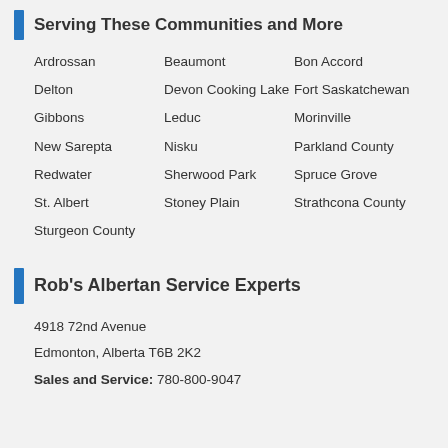Serving These Communities and More
Ardrossan
Beaumont
Bon Accord
Delton
Devon Cooking Lake
Fort Saskatchewan
Gibbons
Leduc
Morinville
New Sarepta
Nisku
Parkland County
Redwater
Sherwood Park
Spruce Grove
St. Albert
Stoney Plain
Strathcona County
Sturgeon County
Rob's Albertan Service Experts
4918 72nd Avenue
Edmonton, Alberta T6B 2K2
Sales and Service: 780-800-9047